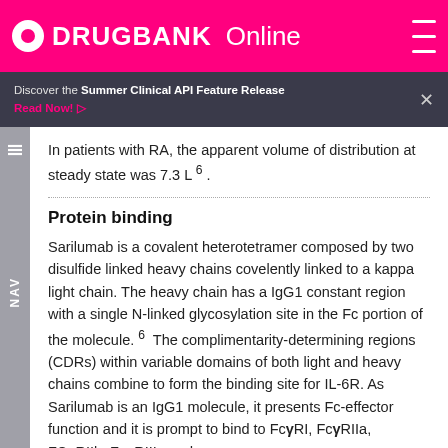DRUGBANK Online
Discover the Summer Clinical API Feature Release
Read Now!
In patients with RA, the apparent volume of distribution at steady state was 7.3 L 6 .
Protein binding
Sarilumab is a covalent heterotetramer composed by two disulfide linked heavy chains covelently linked to a kappa light chain. The heavy chain has a IgG1 constant region with a single N-linked glycosylation site in the Fc portion of the molecule. 6  The complimentarity-determining regions (CDRs) within variable domains of both light and heavy chains combine to form the binding site for IL-6R. As Sarilumab is an IgG1 molecule, it presents Fc-effector function and it is prompt to bind to FcγRI, FcγRIIa, FCγRIIb, FcγRIIIa and